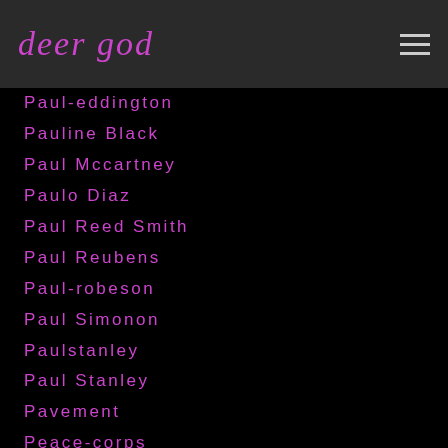deer god
Paul-eddington
Pauline Black
Paul Mccartney
Paulo Diaz
Paul Reed Smith
Paul Reubens
Paul-robeson
Paul Simonon
Paulstanley
Paul Stanley
Pavement
Peace-corps
Peaches
Peanutbutterwolf
Peanut-butter-wolf
Pearl Jam
Pearl-s-buck